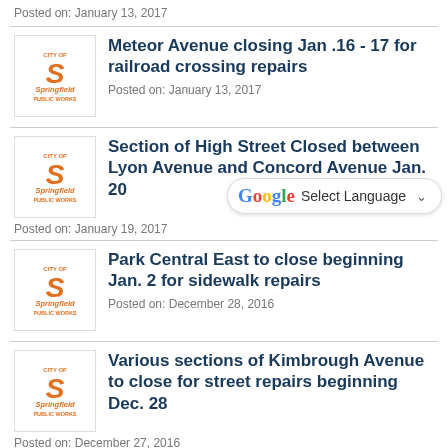Posted on: January 13, 2017
Meteor Avenue closing Jan .16 - 17 for railroad crossing repairs
Posted on: January 13, 2017
Section of High Street Closed between Lyon Avenue and Concord Avenue Jan. 20
Posted on: January 19, 2017
Park Central East to close beginning Jan. 2 for sidewalk repairs
Posted on: December 28, 2016
Various sections of Kimbrough Avenue to close for street repairs beginning Dec. 28
Posted on: December 27, 2016
Public Works prepared for impending